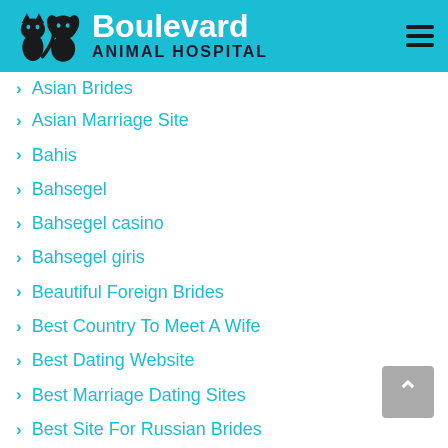[Figure (logo): Boulevard Animal Hospital logo with cat and dog silhouettes and teal background header]
Asian Brides
Asian Marriage Site
Bahis
Bahsegel
Bahsegel casino
Bahsegel giris
Beautiful Foreign Brides
Best Country To Meet A Wife
Best Dating Website
Best Marriage Dating Sites
Best Site For Russian Brides
Best Video Games Roms
Best Woman To Marry